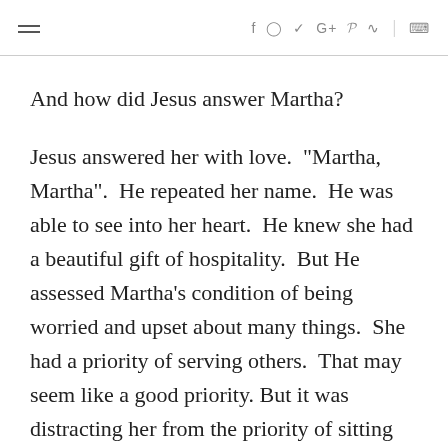≡  f  ⊙  𝕪  G+  p  ⊳  |  🔍
And how did Jesus answer Martha?
Jesus answered her with love.  "Martha, Martha".  He repeated her name.  He was able to see into her heart.  He knew she had a beautiful gift of hospitality.  But He assessed Martha's condition of being worried and upset about many things.  She had a priority of serving others.  That may seem like a good priority. But it was distracting her from the priority of sitting